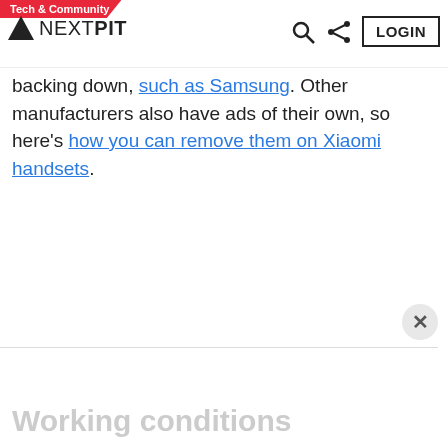Tech & Community | NEXTPIT | LOGIN
backing down, such as Samsung. Other manufacturers also have ads of their own, so here's how you can remove them on Xiaomi handsets.
Working conditions